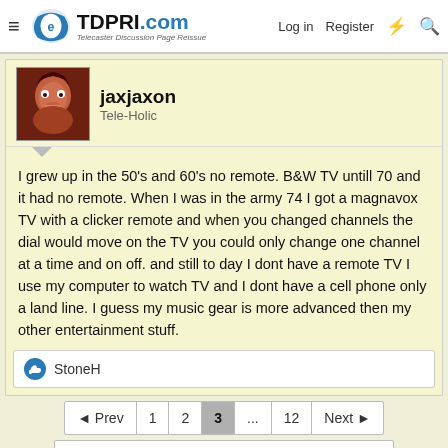TDPRI.com Telecaster Discussion Page Reissue — Log in | Register
jaxjaxon
Tele-Holic
I grew up in the 50's and 60's no remote. B&W TV untill 70 and it had no remote. When I was in the army 74 I got a magnavox TV with a clicker remote and when you changed channels the dial would move on the TV you could only change one channel at a time and on off. and still to day I dont have a remote TV I use my computer to watch TV and I dont have a cell phone only a land line. I guess my music gear is more advanced then my other entertainment stuff.
StoneH
◄ Prev  1  2  3  ...  12  Next ►
You must log in or register to reply here.